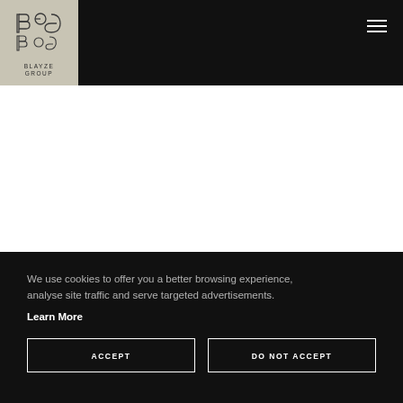[Figure (logo): Blayze Group logo - geometric B and G letterforms in beige/tan box with text BLAYZE GROUP below]
We use cookies to offer you a better browsing experience, analyse site traffic and serve targeted advertisements.
Learn More
ACCEPT
DO NOT ACCEPT